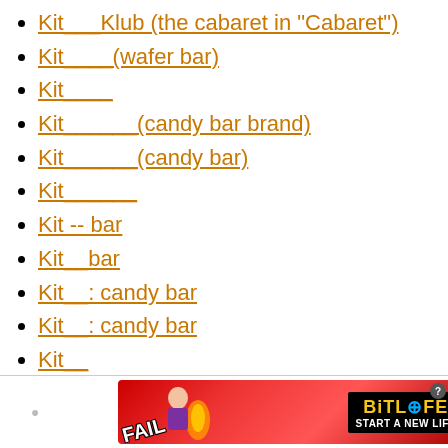Kit___Klub (the cabaret in "Cabaret")
Kit____(wafer bar)
Kit____
Kit______(candy bar brand)
Kit______(candy bar)
Kit______
Kit -- bar
Kit__bar
Kit__: candy bar
Kit__: candy bar
Kit__
[Figure (photo): Advertisement for BitLife mobile game showing 'FAIL' text and 'START A NEW LIFE' tagline on a red/fire background]